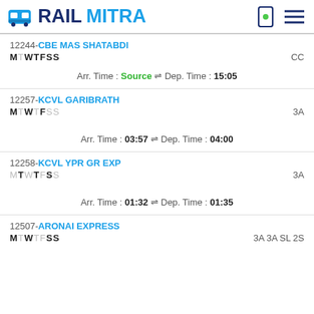RAILMITRA
12244-CBE MAS SHATABDI MTWTFSS CC Arr. Time :Source Dep. Time :15:05
12257-KCVL GARIBRATH MTWTFSS 3A Arr. Time :03:57 Dep. Time :04:00
12258-KCVL YPR GR EXP MTWTFSS 3A Arr. Time :01:32 Dep. Time :01:35
12507-ARONAI EXPRESS MTWTFSS 3A 3A SL 2S